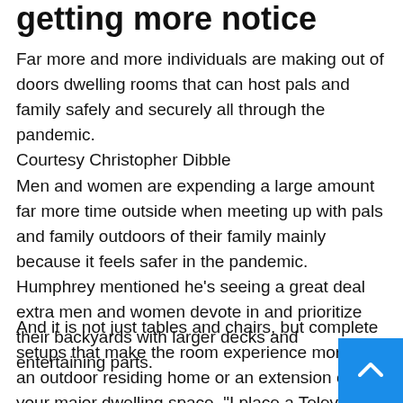getting more notice
Far more and more individuals are making out of doors dwelling rooms that can host pals and family safely and securely all through the pandemic. Courtesy Christopher Dibble
Men and women are expending a large amount far more time outside when meeting up with pals and family outdoors of their family mainly because it feels safer in the pandemic. Humphrey mentioned he’s seeing a great deal extra men and women devote in and prioritize their backyards with larger decks and entertaining parts.

And it is not just tables and chairs, but complete setups that make the room experience more like an outdoor residing home or an extension of your major dwelling space. “I place a Television set on